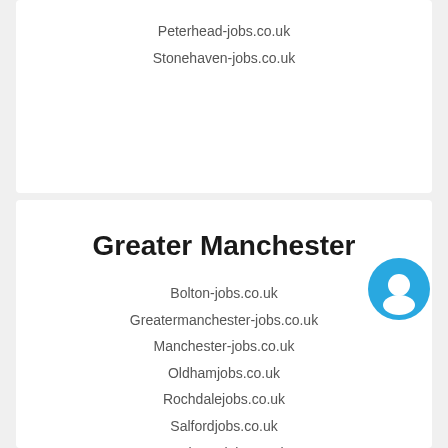Peterhead-jobs.co.uk
Stonehaven-jobs.co.uk
Greater Manchester
Bolton-jobs.co.uk
Greatermanchester-jobs.co.uk
Manchester-jobs.co.uk
Oldhamjobs.co.uk
Rochdalejobs.co.uk
Salfordjobs.co.uk
Stockport-jobs.co.uk
Wigan-jobs.co.uk